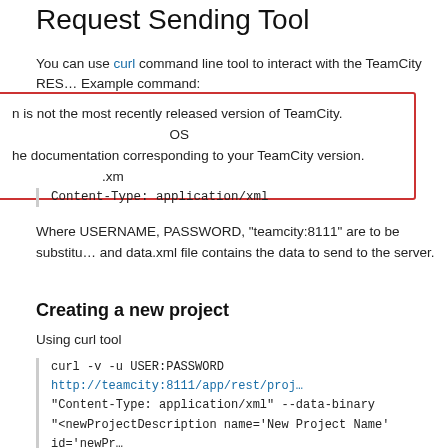Request Sending Tool
You can use curl command line tool to interact with the TeamCity RES… Example command:
n is not the most recently released version of TeamCity. he documentation corresponding to your TeamCity version.
Content-Type: application/xml
Where USERNAME, PASSWORD, "teamcity:8111" are to be substitu… and data.xml file contains the data to send to the server.
Creating a new project
Using curl tool
curl -v -u USER:PASSWORD http://teamcity:8111/app/rest/proj… "Content-Type: application/xml" --data-binary "<newProjectDescription name='New Project Name' id='newPr… <parentProject locator='id:project1'/></newProjectDescription>